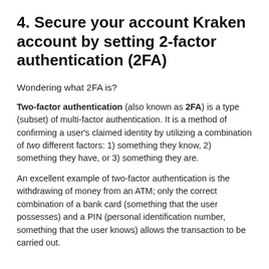4. Secure your account Kraken account by setting 2-factor authentication (2FA)
Wondering what 2FA is?
Two-factor authentication (also known as 2FA) is a type (subset) of multi-factor authentication. It is a method of confirming a user's claimed identity by utilizing a combination of two different factors: 1) something they know, 2) something they have, or 3) something they are.
An excellent example of two-factor authentication is the withdrawing of money from an ATM; only the correct combination of a bank card (something that the user possesses) and a PIN (personal identification number, something that the user knows) allows the transaction to be carried out.